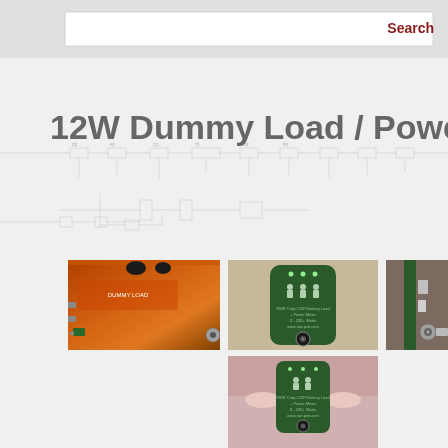Search
12W Dummy Load / Power Meter
[Figure (photo): Orange metal enclosure dummy load device with connectors]
[Figure (photo): Green PCB dummy load / power meter circuit board, top view]
[Figure (photo): Side view of PCB with SMA connector]
[Figure (photo): Hand holding green PCB dummy load / power meter, front view]